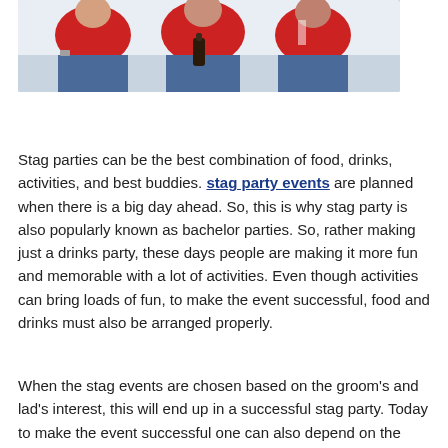[Figure (photo): Three men in red jerseys sitting together, one holding a dark bottle, appearing to celebrate or watch a sports event]
Stag parties can be the best combination of food, drinks, activities, and best buddies. stag party events are planned when there is a big day ahead. So, this is why stag party is also popularly known as bachelor parties. So, rather making just a drinks party, these days people are making it more fun and memorable with a lot of activities. Even though activities can bring loads of fun, to make the event successful, food and drinks must also be arranged properly.
When the stag events are chosen based on the groom's and lad's interest, this will end up in a successful stag party. Today to make the event successful one can also depend on the